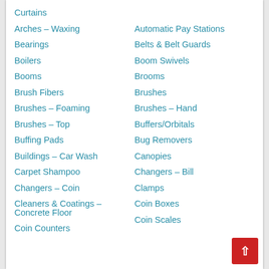Curtains
Automatic Pay Stations
Arches – Waxing
Belts & Belt Guards
Bearings
Boom Swivels
Boilers
Brooms
Booms
Brushes
Brush Fibers
Brushes – Hand
Brushes – Foaming
Buffers/Orbitals
Brushes – Top
Bug Removers
Buffing Pads
Canopies
Buildings – Car Wash
Changers – Bill
Carpet Shampoo
Clamps
Changers – Coin
Coin Boxes
Cleaners & Coatings – Concrete Floor
Coin Counters
Coin Scales